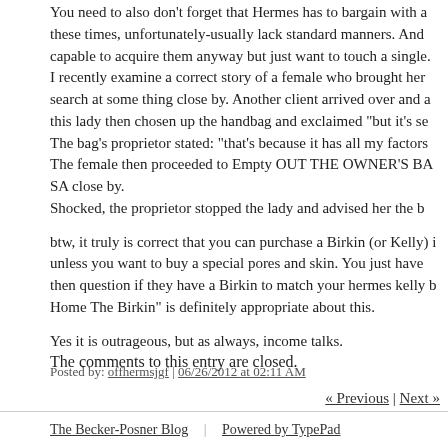You need to also don't forget that Hermes has to bargain with a these times, unfortunately-usually lack standard manners. And capable to acquire them anyway but just want to touch a single. I recently examine a correct story of a female who brought her search at some thing close by. Another client arrived over and a this lady then chosen up the handbag and exclaimed "but it's se The bag's proprietor stated: "that's because it has all my factors The female then proceeded to Empty OUT THE OWNER'S BA SA close by. Shocked, the proprietor stopped the lady and advised her the b
btw, it truly is correct that you can purchase a Birkin (or Kelly) i unless you want to buy a special pores and skin. You just have then question if they have a Birkin to match your hermes kelly b Home The Birkin" is definitely appropriate about this.
Yes it is outrageous, but as always, income talks.
Posted by: offhermsjgf | 06/26/2012 at 02:11 AM
« Previous | Next »
The comments to this entry are closed.
The Becker-Posner Blog | Powered by TypePad